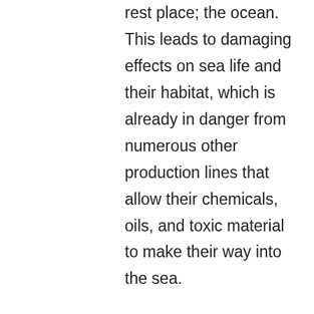rest place; the ocean. This leads to damaging effects on sea life and their habitat, which is already in danger from numerous other production lines that allow their chemicals, oils, and toxic material to make their way into the sea.

Outside of chemicals, some products are unable to dissolve in nature, leading to an overfill of waste. Exfoliating products serve as an example of this. The microbeads used in some exfoliators are actually made of production that are called...